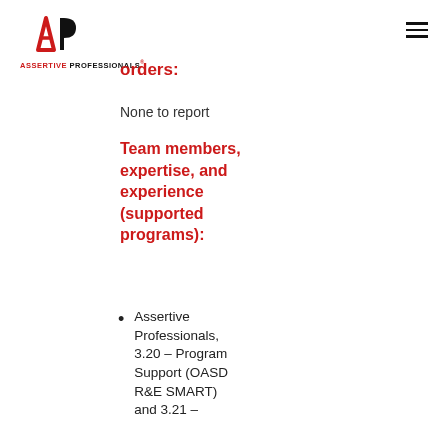Assertive Professionals
orders:
None to report
Team members, expertise, and experience (supported programs):
Assertive Professionals, 3.20 – Program Support (OASD R&E SMART) and 3.21 –